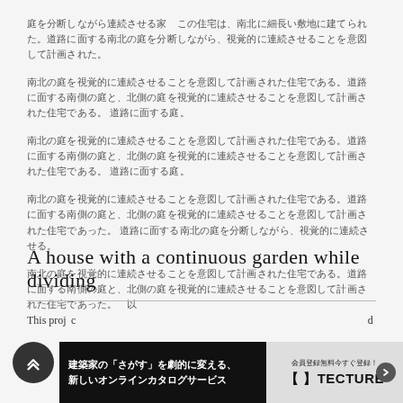庭を分断しながら連続させる家
この住宅は、南北に細長い敷地に建てられた。道路に面する南北の庭を分断しながら、視覚的に連続させることを意図して計画された。
南北の庭を視覚的に連続させることを意図して計画された住宅である。道路に面する南側の庭と、北側の庭を視覚的に連続させることを意図して計画された。
南北の庭を視覚的に連続させることを意図して計画された住宅である。道路に面する南側の庭と、北側の庭を視覚的に連続させることを意図して計画された。
南北の庭を視覚的に連続させることを意図して計画された住宅である。道路に面する南側の庭と、北側の庭を視覚的に連続させることを意図して計画された住宅。
南北の庭を視覚的に連続させることを意図して計画された住宅である。道路に面する南側の庭と、北側の庭を視覚的に連続させた。 以
A house with a continuous garden while dividing
This project is a house with a continuous garden while dividing. The house is designed to visually connect the garden while dividing the wall.